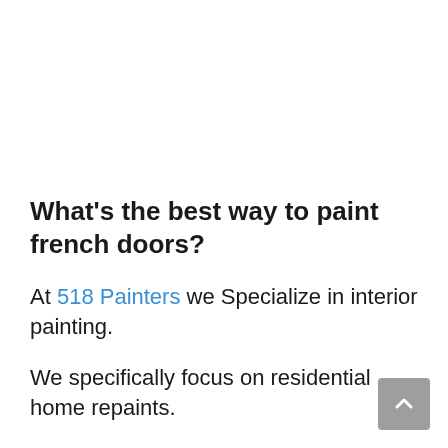What's the best way to paint french doors?
At 518 Painters we Specialize in interior painting.
We specifically focus on residential home repaints.
The majority of our customers are upper-